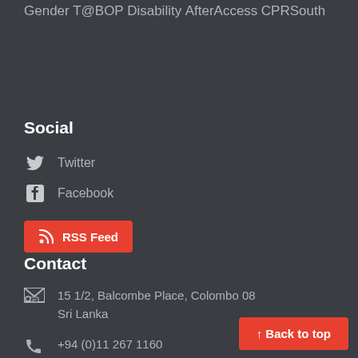Gender
T@BOP
Disability
AfterAccess
CPRSouth
Social
Twitter
Facebook
RSS Feed
Contact
15 1/2, Balcombe Place, Colombo 08 Sri Lanka
+94 (0)11 267 1160
↑ Back to top